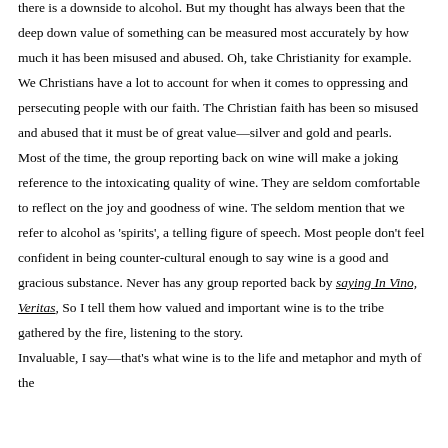there is a downside to alcohol. But my thought has always been that the deep down value of something can be measured most accurately by how much it has been misused and abused. Oh, take Christianity for example. We Christians have a lot to account for when it comes to oppressing and persecuting people with our faith. The Christian faith has been so misused and abused that it must be of great value—silver and gold and pearls.
Most of the time, the group reporting back on wine will make a joking reference to the intoxicating quality of wine. They are seldom comfortable to reflect on the joy and goodness of wine. The seldom mention that we refer to alcohol as 'spirits', a telling figure of speech. Most people don't feel confident in being counter-cultural enough to say wine is a good and gracious substance. Never has any group reported back by saying In Vino, Veritas, So I tell them how valued and important wine is to the tribe gathered by the fire, listening to the story.
Invaluable, I say—that's what wine is to the life and metaphor and myth of the